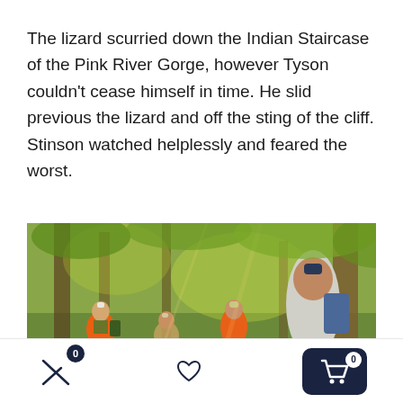The lizard scurried down the Indian Staircase of the Pink River Gorge, however Tyson couldn't cease himself in time. He slid previous the lizard and off the sting of the cliff. Stinson watched helplessly and feared the worst.
[Figure (photo): A group of hikers in a forest setting. People wearing orange vests and backpacks stand among tall trees with green foliage. They appear to be on a trail, gathered together in conversation.]